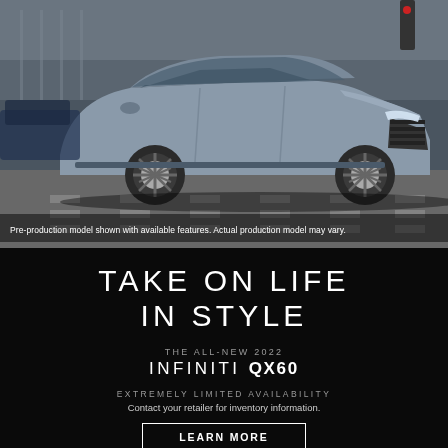[Figure (photo): Silver/grey INFINITI QX60 SUV shown driving on a city street with a crosswalk, urban background. Pre-production model shown with available features.]
Pre-production model shown with available features. Actual production model may vary.
TAKE ON LIFE IN STYLE
THE ALL-NEW 2022
INFINITI QX60
EXTREMELY LIMITED AVAILABILITY
Contact your retailer for inventory information.
LEARN MORE